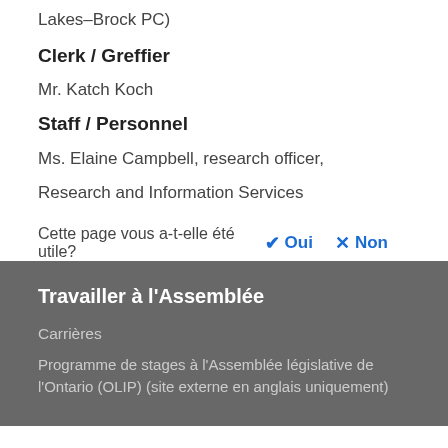Lakes–Brock PC)
Clerk / Greffier
Mr. Katch Koch
Staff / Personnel
Ms. Elaine Campbell, research officer,
Research and Information Services
Cette page vous a-t-elle été utile?  ✔ Oui   ✗ Non
Travailler à l'Assemblée
Carrières
Programme de stages à l'Assemblée législative de l'Ontario (OLIP) (site externe en anglais uniquement)